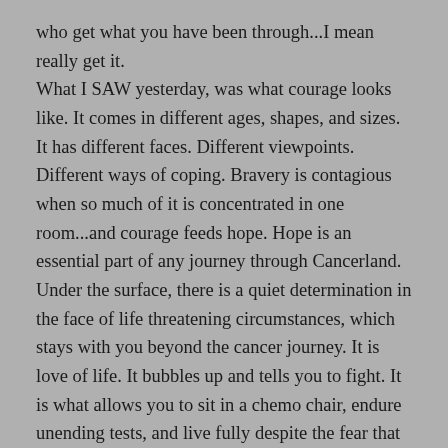who get what you have been through...I mean really get it. What I SAW yesterday, was what courage looks like. It comes in different ages, shapes, and sizes. It has different faces. Different viewpoints. Different ways of coping. Bravery is contagious when so much of it is concentrated in one room...and courage feeds hope. Hope is an essential part of any journey through Cancerland. Under the surface, there is a quiet determination in the face of life threatening circumstances, which stays with you beyond the cancer journey. It is love of life. It bubbles up and tells you to fight. It is what allows you to sit in a chemo chair, endure unending tests, and live fully despite the fear that is a constant in the back of your brain. Life. Yesterday in a room of people who have looked death in the eye, and one who is within its grasp, but even in